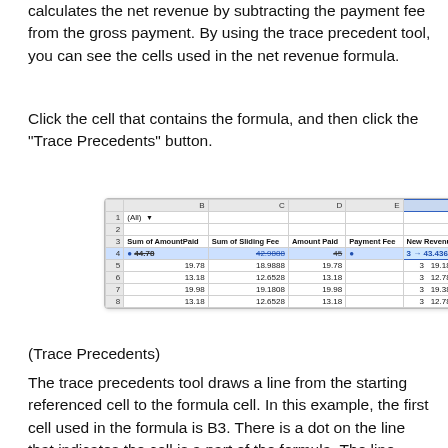calculates the net revenue by subtracting the payment fee from the gross payment. By using the trace precedent tool, you can see the cells used in the net revenue formula.
Click the cell that contains the formula, and then click the "Trace Precedents" button.
[Figure (screenshot): Excel spreadsheet screenshot showing columns B (Sum of AmountPaid), C (Sum of Sliding Fee), D (Amount Paid), E (Payment Fee), F (New Revenue) with trace precedent arrows on row 4 highlighted in blue. Row 4 shows 44.78, 42.9888, 45, 3, 43.4365 (highlighted). Subsequent rows show: 19.78/18.9888/19.78/3/19.1865, 13.18/12.6528/13.18/3/12.7846, 19.98/19.1808/19.98/3/19.3806, 13.18/12.6528/13.18/3/12.7846]
(Trace Precedents)
The trace precedents tool draws a line from the starting referenced cell to the formula cell. In this example, the first cell used in the formula is B3. There is a dot on the line that indicates the cell is a part of the formula. The line moves across the row to the "Payment Fee" column where another dot indicates the next part of the formula. Notice that the arrow points to